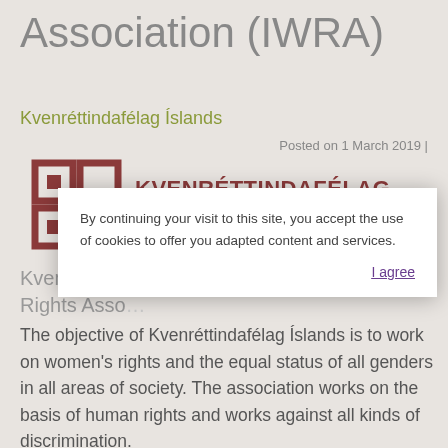Association (IWRA)
Kvenréttindafélag Íslands
Posted on 1 March 2019 |
[Figure (logo): Kvenréttindafélag Íslands logo with geometric square icon in dark red and text KVENRÉTTINDAFÉLAG ÍSLANDS]
Kvenréttinda… Women's Rights Asso…
By continuing your visit to this site, you accept the use of cookies to offer you adapted content and services.
I agree
The objective of Kvenréttindafélag Íslands is to work on women's rights and the equal status of all genders in all areas of society. The association works on the basis of human rights and works against all kinds of discrimination.